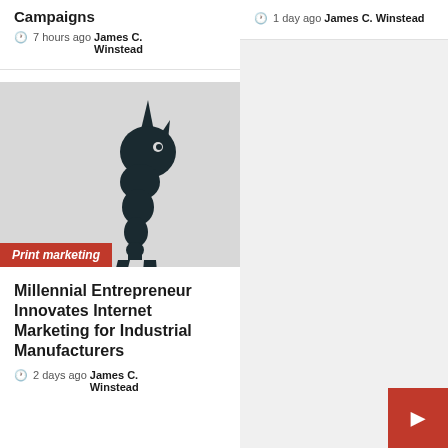Campaigns
🕐 7 hours ago  James C. Winstead
[Figure (illustration): Unicorn silhouette logo on light gray background with 'Print marketing' red label at bottom left]
Print marketing
Millennial Entrepreneur Innovates Internet Marketing for Industrial Manufacturers
🕐 2 days ago  James C. Winstead
🕐 1 day ago  James C. Winstead